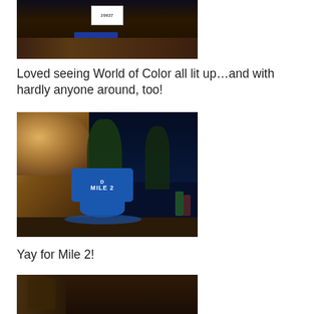[Figure (photo): Runner at night in blue skirt with race bib number 20637, standing in front of a stone wall]
Loved seeing World of Color all lit up…and with hardly anyone around, too!
[Figure (photo): Mile 2 marker sign at Disney California Adventure at night, with illuminated dome structure and trees in background]
Yay for Mile 2!
[Figure (photo): Runner posing with a statue at night near Disney park entrance with buildings and palm trees in background]